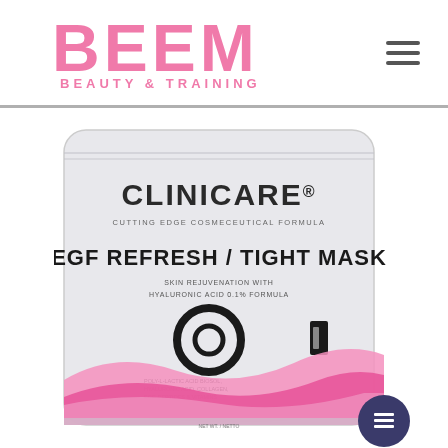[Figure (logo): BEEM Beauty & Training logo in pink bold font with hamburger menu icon]
[Figure (photo): CLINICARE EGF REFRESH / TIGHT MASK product packet — white pouch with pink wave design and black text]